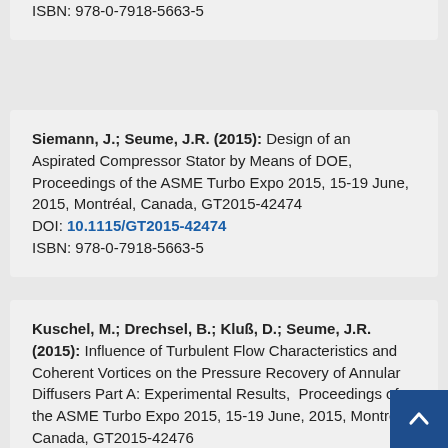ISBN: 978-0-7918-5663-5
Siemann, J.; Seume, J.R. (2015): Design of an Aspirated Compressor Stator by Means of DOE, Proceedings of the ASME Turbo Expo 2015, 15-19 June, 2015, Montréal, Canada, GT2015-42474 DOI: 10.1115/GT2015-42474 ISBN: 978-0-7918-5663-5
Kuschel, M.; Drechsel, B.; Kluß, D.; Seume, J.R. (2015): Influence of Turbulent Flow Characteristics and Coherent Vortices on the Pressure Recovery of Annular Diffusers Part A: Experimental Results, Proceedings of the ASME Turbo Expo 2015, 15-19 June, 2015, Montréal, Canada, GT2015-42476 DOI: 10.1115/GT2015-42476 ISBN: 978-0-7918-5663-5